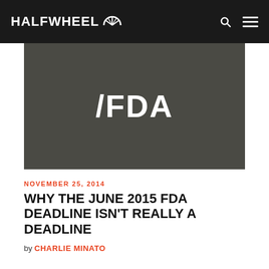HALFWHEEL
[Figure (illustration): /FDA text on dark olive/grey background]
NOVEMBER 25, 2014
WHY THE JUNE 2015 FDA DEADLINE ISN'T REALLY A DEADLINE
by CHARLIE MINATO